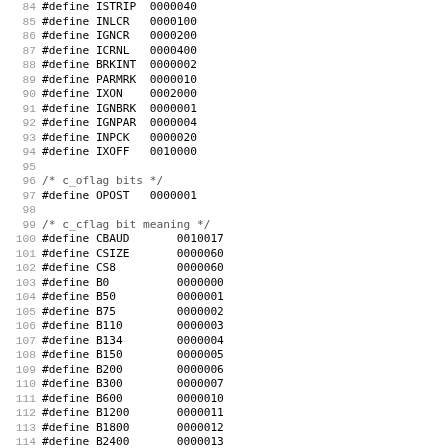84 #define ISTRIP  0000040
85 #define INLCR   0000100
86 #define IGNCR   0000200
87 #define ICRNL   0000400
88 #define BRKINT  0000002
89 #define PARMRK  0000010
90 #define IXON    0002000
91 #define IGNBRK  0000001
92 #define IGNPAR  0000004
93 #define INPCK   0000020
94 #define IXOFF   0010000
95
96 /* c_oflag bits */
97 #define OPOST   0000001
98
99 /* c_cflag bit meaning */
100 #define CBAUD       0010017
101 #define CSIZE       0000060
102 #define CS8         0000060
103 #define B0          0000000
104 #define B50         0000001
105 #define B75         0000002
106 #define B110        0000003
107 #define B134        0000004
108 #define B150        0000005
109 #define B200        0000006
110 #define B300        0000007
111 #define B600        0000010
112 #define B1200       0000011
113 #define B1800       0000012
114 #define B2400       0000013
115 #define B4800       0000014